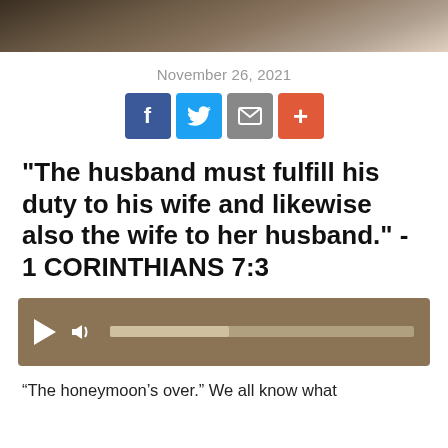[Figure (photo): Partial photo strip at top of page showing two people outdoors]
November 26, 2021
[Figure (infographic): Social share buttons: Facebook (blue), Twitter (light blue), Email (gray), Plus (orange-red)]
"The husband must fulfill his duty to his wife and likewise also the wife to her husband." - 1 CORINTHIANS 7:3
[Figure (other): Audio player widget with play button, volume icon, and progress bar on brown background]
“The honeymoon’s over.” We all know what